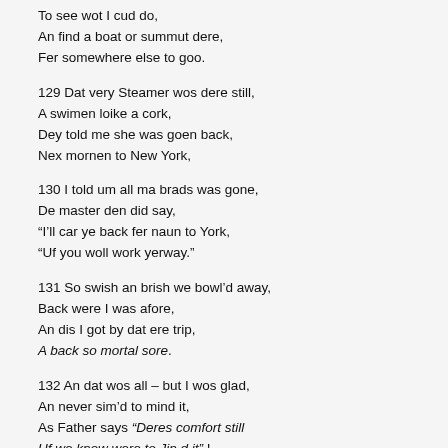To see wot I cud do,
An find a boat or summut dere,
Fer somewhere else to goo.
129 Dat very Steamer wos dere still,
A swimen loike a cork,
Dey told me she was goen back,
Nex mornen to New York,
130 I told um all ma brads was gone,
De master den did say,
“I’ll car ye back fer naun to York,
“Uf you woll work yerway.”
131 So swish an brish we bowl’d away,
Back were I was afore,
An dis I got by dat ere trip,
A back so mortal sore.
132 An dat wos all – but I wos glad,
An never sim’d to mind it,
As Father says “Deres comfort still
Uf we know were to Jin d it” !
133 1 told de Captain wot I’d sin,
He sed ‘twas badish luck,